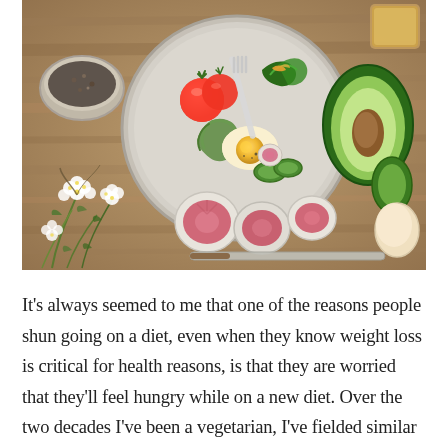[Figure (photo): Overhead shot of a healthy salad bowl with egg, tomatoes, avocado slices, greens, and zucchini noodles on a rustic wooden table, surrounded by white flowers, radish slices, avocado halves, a spice bowl, a knife, and a glass of tea]
It's always seemed to me that one of the reasons people shun going on a diet, even when they know weight loss is critical for health reasons, is that they are worried that they'll feel hungry while on a new diet. Over the two decades I've been a vegetarian, I've fielded similar questions from people. The point of this column is